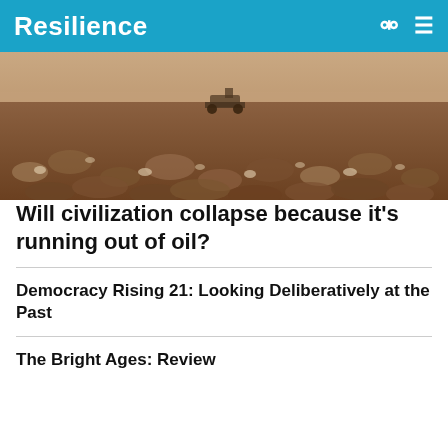Resilience
[Figure (photo): Wide-angle photograph of a large cotton field with a farming vehicle visible in the background under a hazy sky.]
Will civilization collapse because it’s running out of oil?
Democracy Rising 21: Looking Deliberatively at the Past
The Bright Ages: Review